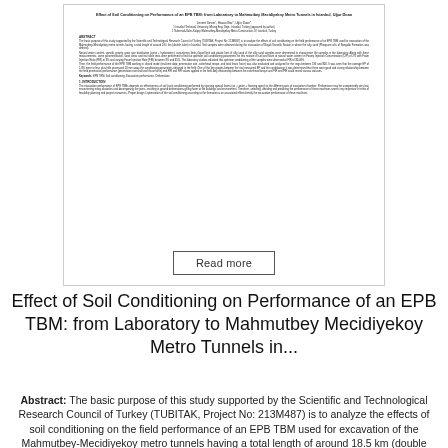[Figure (screenshot): Preview image of an academic paper page showing title, authors, abstract, keywords, and introduction section with a 'Read more' button at the bottom.]
Effect of Soil Conditioning on Performance of an EPB TBM: from Laboratory to Mahmutbey Mecidiyekoy Metro Tunnels in...
Abstract: The basic purpose of this study supported by the Scientific and Technological Research Council of Turkey (TUBITAK, Project No: 213M487) is to analyze the effects of soil conditioning on the field performance of an EPB TBM used for excavation of the Mahmutbey-Mecidiyekoy metro tunnels having a total length of around 18.5 km (double tube) in Istanbul. Soil samples were obtained during the